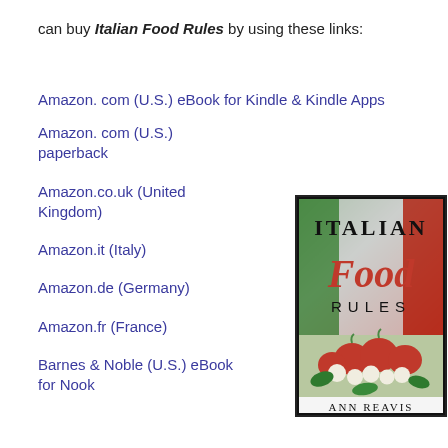can buy Italian Food Rules by using these links:
Amazon. com (U.S.) eBook for Kindle & Kindle Apps
Amazon. com (U.S.) paperback
Amazon.co.uk (United Kingdom)
Amazon.it (Italy)
Amazon.de (Germany)
Amazon.fr (France)
Barnes & Noble (U.S.) eBook for Nook
[Figure (illustration): Book cover of Italian Food Rules by Ann Reavis, showing the Italian flag colors, the title text with 'Food' in red script, and a photo of tomatoes, mozzarella and basil at the bottom]